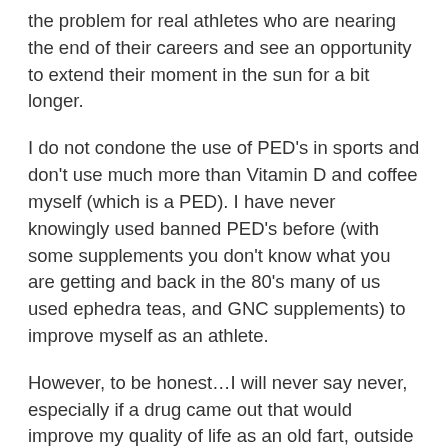the problem for real athletes who are nearing the end of their careers and see an opportunity to extend their moment in the sun for a bit longer.
I do not condone the use of PED's in sports and don't use much more than Vitamin D and coffee myself (which is a PED). I have never knowingly used banned PED's before (with some supplements you don't know what you are getting and back in the 80's many of us used ephedra teas, and GNC supplements) to improve myself as an athlete.
However, to be honest…I will never say never, especially if a drug came out that would improve my quality of life as an old fart, outside of my athletic life, which in turn would improve my